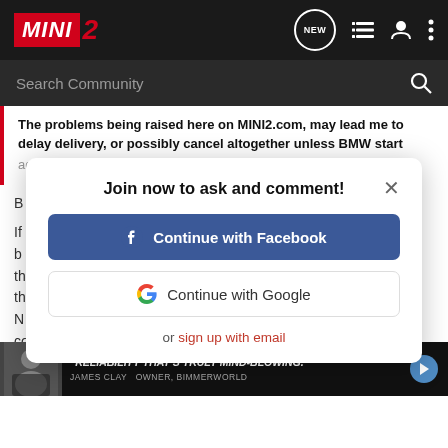MINI2 — navigation header with logo, NEW button, list icon, user icon, dots menu
Search Community
The problems being raised here on MINI2.com, may lead me to delay delivery, or possibly cancel altogether unless BMW start addressing the current owners and depositees concerns about
Join now to ask and comment!
Continue with Facebook
Continue with Google
or sign up with email
computers til August or so, giving you some time to watch the posts. You can see how they will
[Figure (screenshot): Ad banner: man in black shirt, quote 'RELIABILITY THAT'S TRULY MIND-BLOWING.' attributed to JAMES CLAY OWNER, BIMMERWORLD]